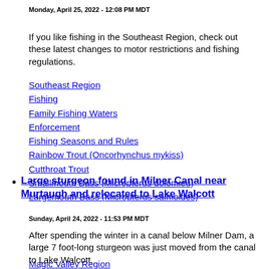Monday, April 25, 2022 - 12:08 PM MDT
If you like fishing in the Southeast Region, check out these latest changes to motor restrictions and fishing regulations.
Southeast Region
Fishing
Family Fishing Waters
Enforcement
Fishing Seasons and Rules
Rainbow Trout (Oncorhynchus mykiss)
Cutthroat Trout
Smallmouth Bass (Micropterus dolomieu)
Largemouth Bass (Micropterus salmoides)
Large sturgeon found in Milner Canal near Murtaugh and relocated to Lake Walcott
Sunday, April 24, 2022 - 11:53 PM MDT
After spending the winter in a canal below Milner Dam, a large 7 foot-long sturgeon was just moved from the canal to Lake Walcott.
Magic Valley Region
Fishing